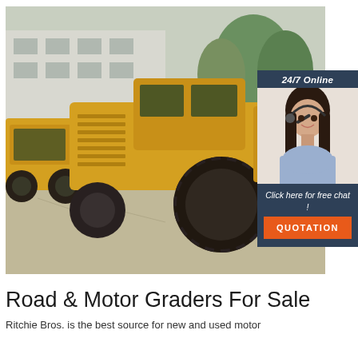[Figure (photo): Yellow road roller / compactor machines parked in a yard with a building and trees in the background]
[Figure (infographic): 24/7 Online chat panel with a female customer service agent wearing a headset, text 'Click here for free chat!' and an orange QUOTATION button]
Road & Motor Graders For Sale
Ritchie Bros. is the best source for new and used motor